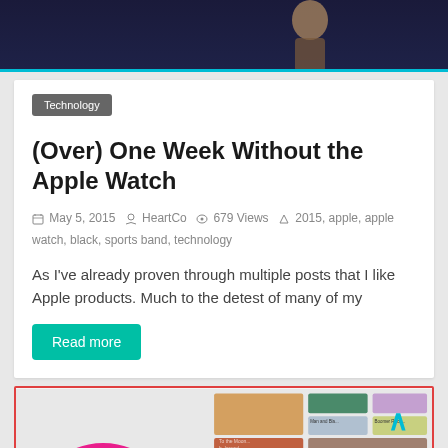[Figure (photo): Dark blue background with a person (speaker) visible, similar to a tech conference keynote. Cyan/teal bottom border.]
Technology
(Over) One Week Without the Apple Watch
May 5, 2015   HeartCo   679 Views   2015, apple, apple watch, black, sports band, technology
As I've already proven through multiple posts that I like Apple products. Much to the detest of many of my
Read more
[Figure (screenshot): Bottom card with red border showing music app screenshot thumbnails and colorful circles (pink, black, yellow-green) at the bottom, with a teal up-arrow icon.]